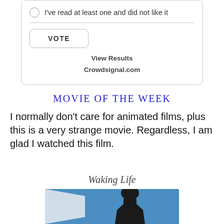I've read at least one and did not like it
VOTE
View Results
Crowdsignal.com
MOVIE OF THE WEEK
I normally don't care for animated films, plus this is a very strange movie. Regardless, I am glad I watched this film.
Waking Life
[Figure (photo): Movie still or promotional image from Waking Life showing a silhouetted figure against a blue background]